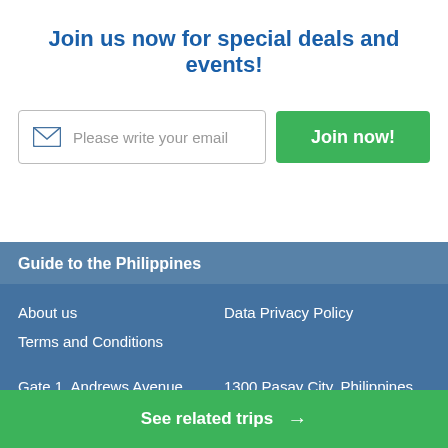Join us now for special deals and events!
[Figure (infographic): Email input field with envelope icon showing placeholder text 'Please write your email' and a green 'Join now!' button]
Guide to the Philippines
About us
Data Privacy Policy
Terms and Conditions
Gate 1, Andrews Avenue
1300 Pasay City, Philippines
info@guidetothephilippines.ph
See related trips →